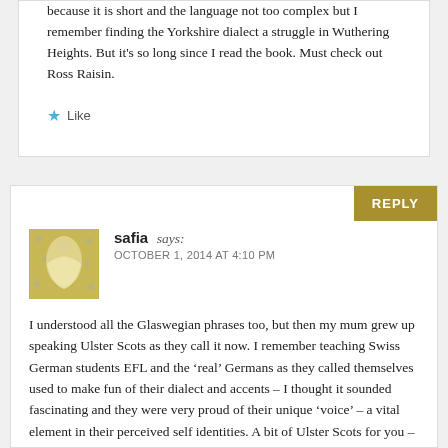because it is short and the language not too complex but I remember finding the Yorkshire dialect a struggle in Wuthering Heights. But it's so long since I read the book. Must check out Ross Raisin.
Like
safia says:
OCTOBER 1, 2014 AT 4:10 PM
I understood all the Glaswegian phrases too, but then my mum grew up speaking Ulster Scots as they call it now. I remember teaching Swiss German students EFL and the ‘real’ Germans as they called themselves used to make fun of their dialect and accents – I thought it sounded fascinating and they were very proud of their unique ‘voice’ – a vital element in their perceived self identities. A bit of Ulster Scots for you – ‘She’s a quare dour wee bane.’